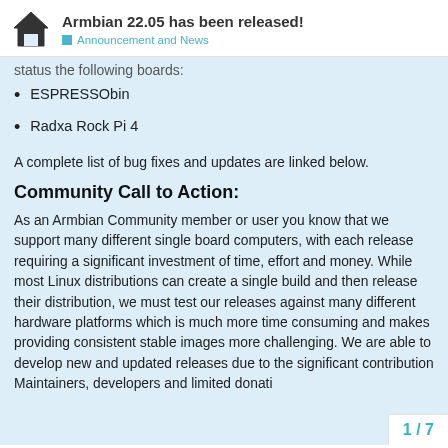Armbian 22.05 has been released! — Announcement and News
status the following boards:
ESPRESSObin
Radxa Rock Pi 4
A complete list of bug fixes and updates are linked below.
Community Call to Action:
As an Armbian Community member or user you know that we support many different single board computers, with each release requiring a significant investment of time, effort and money. While most Linux distributions can create a single build and then release their distribution, we must test our releases against many different hardware platforms which is much more time consuming and makes providing consistent stable images more challenging. We are able to develop new and updated releases due to the significant contribution Maintainers, developers and limited donati
1 / 7